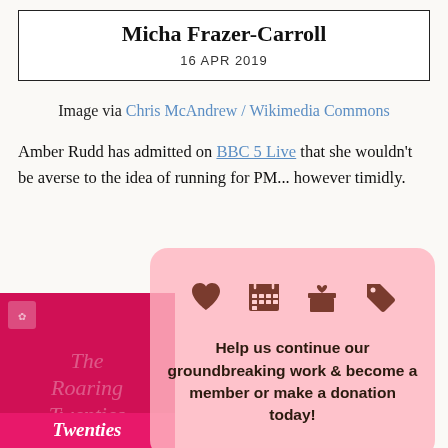Micha Frazer-Carroll
16 APR 2019
Image via Chris McAndrew / Wikimedia Commons
Amber Rudd has admitted on BBC 5 Live that she wouldn't be averse to the idea of running for PM... however timidly.
Help us continue our groundbreaking work & become a member or make a donation today!
[Figure (illustration): Book cover showing 'The Roaring Twenties' with pink/magenta background]